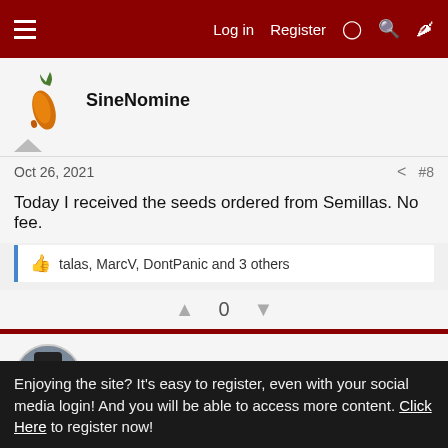Log in  Register
SineNomine
Oct 26, 2021  #8
Today I received the seeds ordered from Semillas. No fee.
talas, MarcV, DontPanic and 3 others
0
MarcV
Enjoying the site? It's easy to register, even with your social media login! And you will be able to access more content. Click Here to register now!